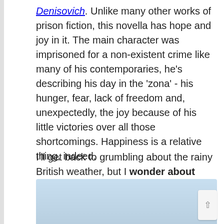Denisovich. Unlike many other works of prison fiction, this novella has hope and joy in it. The main character was imprisoned for a non-existent crime like many of his contemporaries, he's describing his day in the 'zona' - his hunger, fear, lack of freedom and, unexpectedly, the joy because of his little victories over all those shortcomings. Happiness is a relative thing, indeed.
I'll get back to grumbling about the rainy British weather, but I wonder about your accomplishments and adventures this summer.
[Figure (photo): Partially visible light blue gradient image at the bottom of the page, likely a sky or water photo.]